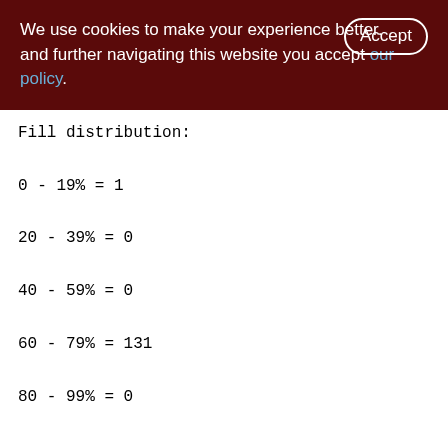We use cookies to make your experience better. By accepting and further navigating this website you accept our policy.
Fill distribution:
0 - 19% = 1
20 - 39% = 0
40 - 59% = 0
60 - 79% = 131
80 - 99% = 0
WARES (144)
Primary pointer page: 210, Index root page: 211
Average record length: 78.00, total records: 400
Average version length: 0.00, total